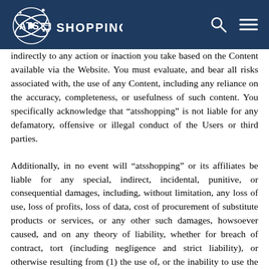ATS SHOPPING
indirectly to any action or inaction you take based on the Content available via the Website. You must evaluate, and bear all risks associated with, the use of any Content, including any reliance on the accuracy, completeness, or usefulness of such content. You specifically acknowledge that “atsshopping” is not liable for any defamatory, offensive or illegal conduct of the Users or third parties.
Additionally, in no event will “atsshopping” or its affiliates be liable for any special, indirect, incidental, punitive, or consequential damages, including, without limitation, any loss of use, loss of profits, loss of data, cost of procurement of substitute products or services, or any other such damages, howsoever caused, and on any theory of liability, whether for breach of contract, tort (including negligence and strict liability), or otherwise resulting from (1) the use of, or the inability to use the Website; (2) the cost of procurement of substitute services, items, or Website; (2)